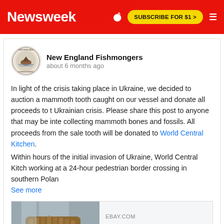Newsweek | SUBSCRIBE FOR $1 >
[Figure (logo): New England Fishmongers circular logo with fish illustration]
New England Fishmongers
about 6 months ago
In light of the crisis taking place in Ukraine, we decided to auction a mammoth tooth caught on our vessel and donate all proceeds to the Ukrainian crisis. Please share this post to anyone that may be interested in collecting mammoth bones and fossils. All proceeds from the sale of this tooth will be donated to World Central Kitchen.

Within hours of the initial invasion of Ukraine, World Central Kitchen was working at a 24-hour pedestrian border crossing in southern Poland.
See more
[Figure (photo): Person holding a large mammoth tooth molar over a sink, showing the ridged texture of the fossil]
EBAY.COM
Mammoth Tooth Molar - All Proce...
This is a very well preserved mammoth...